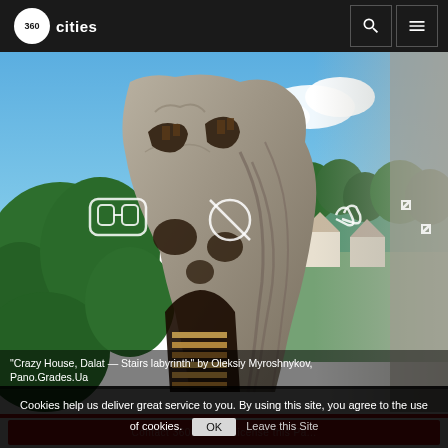360cities
[Figure (photo): Panoramic photo of Crazy House, Dalat - a surrealist building resembling a skull/organic structure with trees and blue sky background]
"Crazy House, Dalat — Stairs labyrinth" by Oleksiy Myroshnykov, Pano.Grades.Ua
Contact 360Cities to license this Pa...
Cookies help us deliver great service to you. By using this site, you agree to the use of cookies. OK  Leave this Site